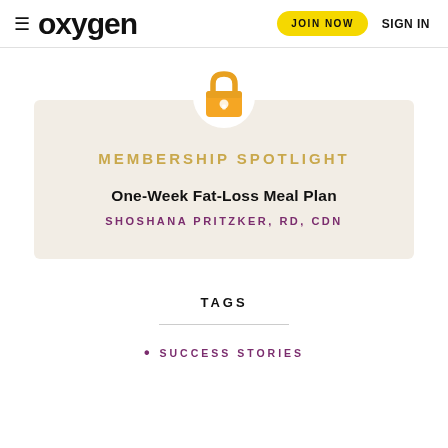oxygen  JOIN NOW  SIGN IN
[Figure (illustration): Gold padlock icon centered above the membership spotlight card]
MEMBERSHIP SPOTLIGHT
One-Week Fat-Loss Meal Plan
SHOSHANA PRITZKER, RD, CDN
TAGS
SUCCESS STORIES